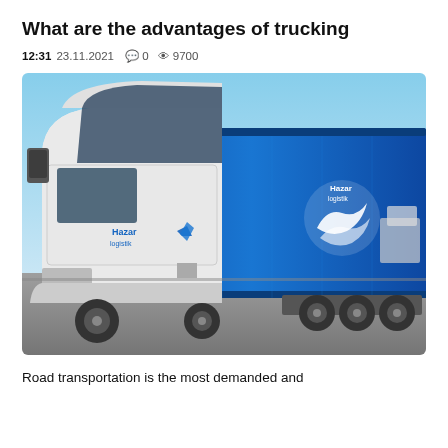What are the advantages of trucking
12:31  23.11.2021   💬 0  👁 9700
[Figure (photo): A white Hazar Logistik semi-truck cab with a blue trailer bearing the Hazar logo, parked on a road under a clear blue sky.]
Road transportation is the most demanded and